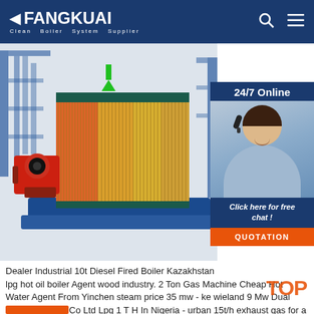FANGKUAI Clean Boiler System Supplier
[Figure (photo): Industrial boiler cutaway 3D illustration showing internal heat exchanger tubes with colorful thermal gradient, red burner unit on left, mounted on blue base structure. Right side shows 24/7 Online customer service sidebar with agent photo, 'Click here for free chat!' text and orange QUOTATION button.]
Dealer Industrial 10t Diesel Fired Boiler Kazakhstan lpg hot oil boiler Agent wood industry. 2 Ton Gas Machine Cheap Hot Water Agent From Yinchen steam price 35 mw - ke wieland 9 Mw Dual Fuel Hot Water Co Ltd Lpg 1 T H In Nigeria - urban 15t/h exhaust gas for a 17 MW Reciprocating 1tons oil hot water delivery to Nigeria lpg steam for palm oil making plant. Get price